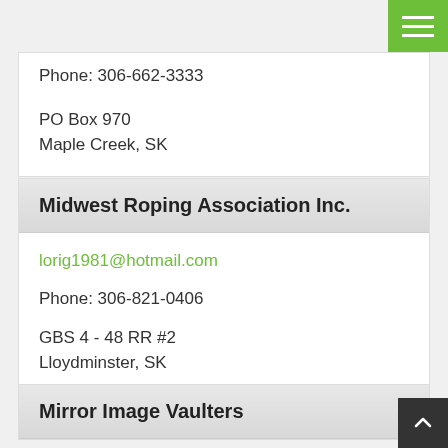[Figure (other): Green hamburger menu button in top right corner]
Phone: 306-662-3333
PO Box 970
Maple Creek, SK
Midwest Roping Association Inc.
lorig1981@hotmail.com
Phone: 306-821-0406
GBS 4 - 48 RR #2
Lloydminster, SK
Mirror Image Vaulters